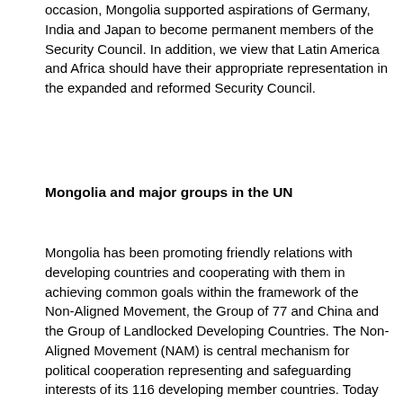occasion, Mongolia supported aspirations of Germany, India and Japan to become permanent members of the Security Council. In addition, we view that Latin America and Africa should have their appropriate representation in the expanded and reformed Security Council.
Mongolia and major groups in the UN
Mongolia has been promoting friendly relations with developing countries and cooperating with them in achieving common goals within the framework of the Non-Aligned Movement, the Group of 77 and China and the Group of Landlocked Developing Countries. The Non-Aligned Movement (NAM) is central mechanism for political cooperation representing and safeguarding interests of its 116 developing member countries. Today the NAM is still relevant and practical for providing avenues for South-South and North-South cooperation addressing common concerns of members of the NAM. We view that Mongolia's participation in the Movement contributes to safeguarding its